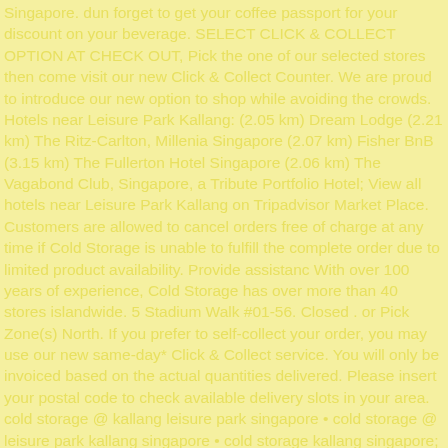Singapore. dun forget to get your coffee passport for your discount on your beverage. SELECT CLICK & COLLECT OPTION AT CHECK OUT, Pick the one of our selected stores then come visit our new Click & Collect Counter. We are proud to introduce our new option to shop while avoiding the crowds. Hotels near Leisure Park Kallang: (2.05 km) Dream Lodge (2.21 km) The Ritz-Carlton, Millenia Singapore (2.07 km) Fisher BnB (3.15 km) The Fullerton Hotel Singapore (2.06 km) The Vagabond Club, Singapore, a Tribute Portfolio Hotel; View all hotels near Leisure Park Kallang on Tripadvisor Market Place. Customers are allowed to cancel orders free of charge at any time if Cold Storage is unable to fulfill the complete order due to limited product availability. Provide assistanc With over 100 years of experience, Cold Storage has over more than 40 stores islandwide. 5 Stadium Walk #01-56. Closed . or Pick Zone(s) North. If you prefer to self-collect your order, you may use our new same-day* Click & Collect service. You will only be invoiced based on the actual quantities delivered. Please insert your postal code to check available delivery slots in your area. cold storage @ kallang leisure park singapore • cold storage @ leisure park kallang singapore • cold storage kallang singapore; Hakkında; Blog; İşletmeler; Şehirler; Geliştiriciler; Yardım; Kariyer; Çerezler (Güncellendi) Gizlilik (Güncellendi) Do Not Sell My Personal Info; Şartlar; Türkçe. Pickup location: "Cold Storage Kallang Leisure Park", Click and Collect Counter Order number: Please refer to